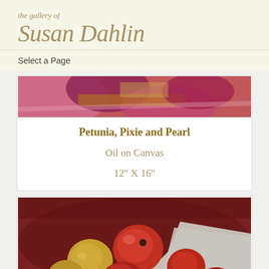the gallery of Susan Dahlin
Select a Page
[Figure (photo): Cropped top portion of a painting showing abstract brushstrokes in pink, purple, burgundy and gold colors]
Petunia, Pixie and Pearl
Oil on Canvas
12" X 16"
[Figure (photo): Oil painting of several red and yellow apples arranged in a bowl with a white cloth, painted in a impressionistic style with deep red background]